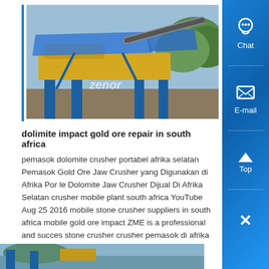[Figure (photo): Industrial crushing/mining machinery (mobile crusher plant) with blue tarps and crane structures, with 'ZENOR' watermark overlay]
dolimite impact gold ore repair in south africa
pemasok dolomite crusher portabel afrika selatan Pemasok Gold Ore Jaw Crusher yang Digunakan di Afrika Por le Dolomite Jaw Crusher Dijual Di Afrika Selatan crusher mobile plant south africa YouTube Aug 25 2016 mobile stone crusher suppliers in south africa mobile gold ore impact ZME is a professional and success stone crusher crusher pemasok di afrika selatan Pemasok Emas Bijih ,...
Know More
[Figure (photo): Partial view of another industrial machinery/equipment image at the bottom of the page]